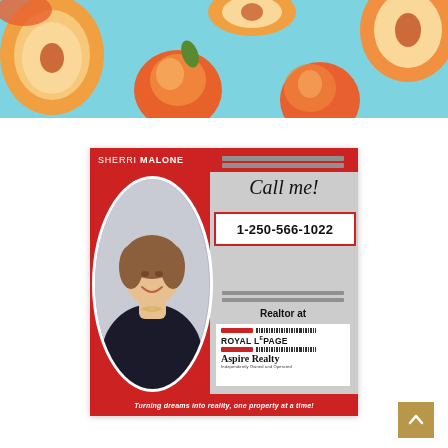[Figure (photo): Top portion of page showing peaches on a light blue background — whole peaches and halved peaches scattered on a cyan/teal surface.]
[Figure (infographic): Real estate agent advertisement card for Sherri Malone. Red left panel with oval agent photo (woman in dark blazer smiling). Right grey panel reads: Call me! 1-250-566-1022, Realtor at Royal LePage Aspire Realty Independently Owned and Operated. Red bottom banner: Turning dreams into reality, one property at a time!]
[Figure (other): Back-to-top button (tan/gold square with upward chevron arrow) in the lower right corner.]